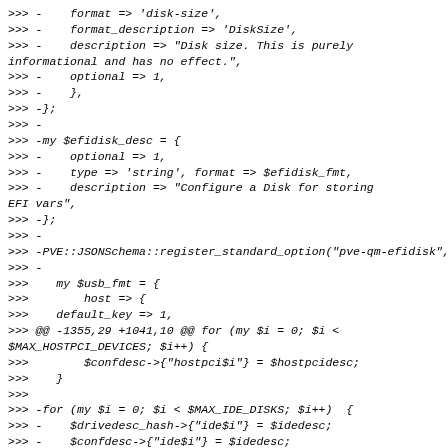>>> -    format => 'disk-size',
>>> -    format_description => 'DiskSize',
>>> -    description => "Disk size. This is purely
informational and has no effect.",
>>> -    optional => 1,
>>> -    },
>>> -};
>>> -
>>> -my $efidisk_desc = {
>>> -    optional => 1,
>>> -    type => 'string', format => $efidisk_fmt,
>>> -    description => "Configure a Disk for storing
EFI vars",
>>> -};
>>> -
>>> -PVE::JSONSchema::register_standard_option("pve-qm-efidisk", $efidisk_desc);
>>> -
>>>     my $usb_fmt = {
>>>         host => {
>>>     default_key => 1,
>>> @@ -1355,29 +1041,10 @@ for (my $i = 0; $i <
$MAX_HOSTPCI_DEVICES; $i++) {
>>>         $confdesc->{"hostpci$i"} = $hostpcidesc;
>>>     }
>>>
>>> -for (my $i = 0; $i < $MAX_IDE_DISKS; $i++)  {
>>> -    $drivedesc_hash->{"ide$i"} = $idedesc;
>>> -    $confdesc->{"ide$i"} = $idedesc;
>>> -}
>>>